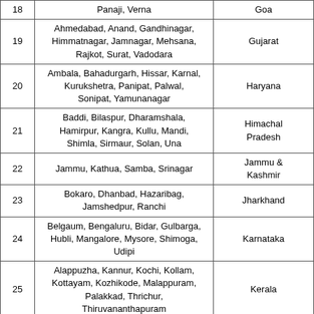| # | Cities | State |
| --- | --- | --- |
| 18 | Panaji, Verna | Goa |
| 19 | Ahmedabad, Anand, Gandhinagar, Himmatnagar, Jamnagar, Mehsana, Rajkot, Surat, Vadodara | Gujarat |
| 20 | Ambala, Bahadurgarh, Hissar, Karnal, Kurukshetra, Panipat, Palwal, Sonipat, Yamunanagar | Haryana |
| 21 | Baddi, Bilaspur, Dharamshala, Hamirpur, Kangra, Kullu, Mandi, Shimla, Sirmaur, Solan, Una | Himachal Pradesh |
| 22 | Jammu, Kathua, Samba, Srinagar | Jammu & Kashmir |
| 23 | Bokaro, Dhanbad, Hazaribag, Jamshedpur, Ranchi | Jharkhand |
| 24 | Belgaum, Bengaluru, Bidar, Gulbarga, Hubli, Mangalore, Mysore, Shimoga, Udipi | Karnataka |
| 25 | Alappuzha, Kannur, Kochi, Kollam, Kottayam, Kozhikode, Malappuram, Palakkad, Thrichur, Thiruvananthapuram | Kerala |
| 26 | Kavaratti | Lakshwadeep |
| 27 | ... | Madhya... |